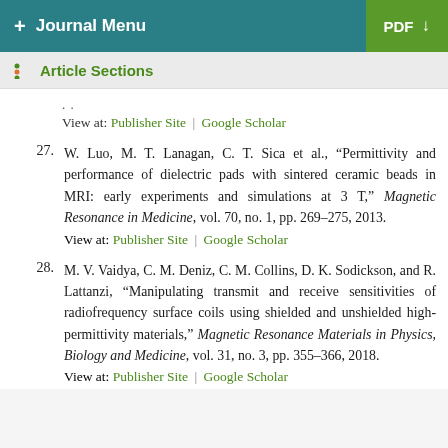+ Journal Menu | PDF
Article Sections
View at: Publisher Site | Google Scholar
27. W. Luo, M. T. Lanagan, C. T. Sica et al., “Permittivity and performance of dielectric pads with sintered ceramic beads in MRI: early experiments and simulations at 3 T,” Magnetic Resonance in Medicine, vol. 70, no. 1, pp. 269–275, 2013.
View at: Publisher Site | Google Scholar
28. M. V. Vaidya, C. M. Deniz, C. M. Collins, D. K. Sodickson, and R. Lattanzi, “Manipulating transmit and receive sensitivities of radiofrequency surface coils using shielded and unshielded high-permittivity materials,” Magnetic Resonance Materials in Physics, Biology and Medicine, vol. 31, no. 3, pp. 355–366, 2018.
View at: Publisher Site | Google Scholar